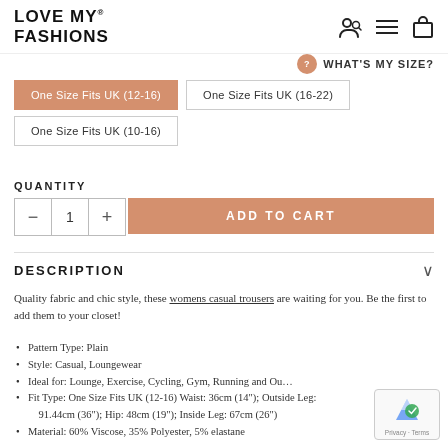LOVE MY® FASHIONS
WHAT'S MY SIZE?
One Size Fits UK (12-16) [selected], One Size Fits UK (16-22), One Size Fits UK (10-16)
QUANTITY
1
ADD TO CART
DESCRIPTION
Quality fabric and chic style, these womens casual trousers are waiting for you. Be the first to add them to your closet!
Pattern Type: Plain
Style: Casual, Loungewear
Ideal for: Lounge, Exercise, Cycling, Gym, Running and Ou…
Fit Type: One Size Fits UK (12-16) Waist: 36cm (14"); Outside Leg: 91.44cm (36"); Hip: 48cm (19"); Inside Leg: 67cm (26")
Material: 60% Viscose, 35% Polyester, 5% elastane